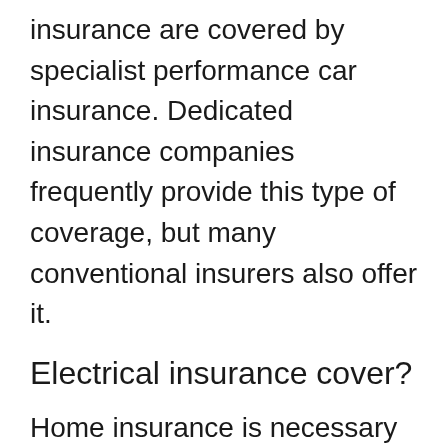insurance are covered by specialist performance car insurance. Dedicated insurance companies frequently provide this type of coverage, but many conventional insurers also offer it.
Electrical insurance cover?
Home insurance is necessary to safeguard your home against